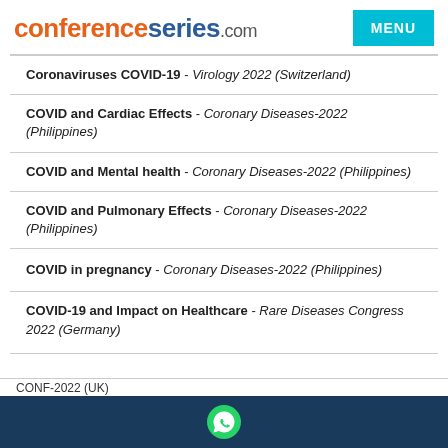conferenceseries.com — MENU
Coronaviruses COVID-19 - Virology 2022 (Switzerland)
COVID and Cardiac Effects - Coronary Diseases-2022 (Philippines)
COVID and Mental health - Coronary Diseases-2022 (Philippines)
COVID and Pulmonary Effects - Coronary Diseases-2022 (Philippines)
COVID in pregnancy - Coronary Diseases-2022 (Philippines)
COVID-19 and Impact on Healthcare - Rare Diseases Congress 2022 (Germany)
CONF-2022 (UK)